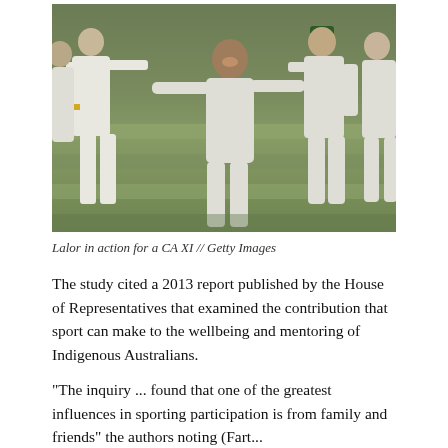[Figure (photo): Cricket players in white uniforms celebrating on a green field. A player in the center is smiling broadly with arms outstretched, being congratulated by teammates. Players wear Australian cricket kit.]
Lalor in action for a CA XI // Getty Images
The study cited a 2013 report published by the House of Representatives that examined the contribution that sport can make to the wellbeing and mentoring of Indigenous Australians.
"The inquiry ... found that one of the greatest influences in sporting participation is from family and friends" the authors noting (Earth...